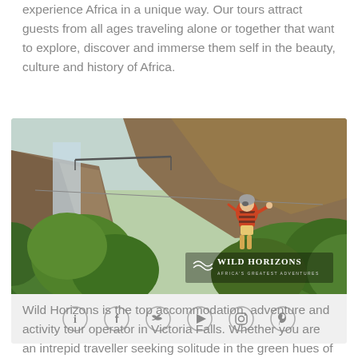experience Africa in a unique way. Our tours attract guests from all ages traveling alone or together that want to explore, discover and immerse them self in the beauty, culture and history of Africa.
[Figure (photo): Person zip-lining over lush green jungle gorge with rocky cliffs and a bridge in background; Wild Horizons logo overlaid in lower right corner; social media icons bar at bottom.]
Wild Horizons is the top accommodation, adventure and activity tour operator in Victoria Falls. Whether you are an intrepid traveller seeking solitude in the green hues of the